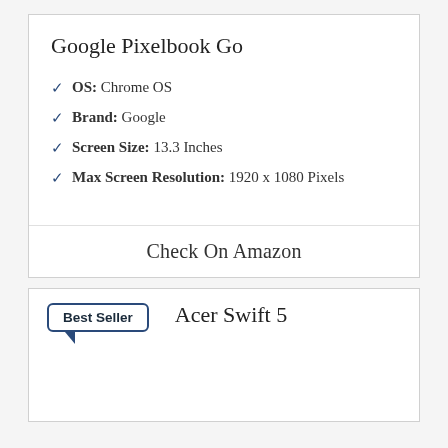Google Pixelbook Go
OS: Chrome OS
Brand: Google
Screen Size: 13.3 Inches
Max Screen Resolution: 1920 x 1080 Pixels
Check On Amazon
Best Seller
Acer Swift 5